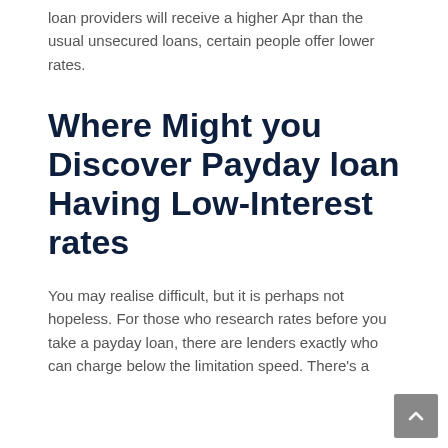loan providers will receive a higher Apr than the usual unsecured loans, certain people offer lower rates.
Where Might you Discover Payday loan Having Low-Interest rates
You may realise difficult, but it is perhaps not hopeless. For those who research rates before you take a payday loan, there are lenders exactly who can charge below the limitation speed. There's a